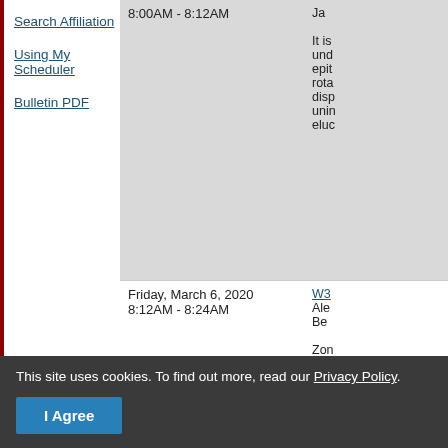Search Affiliation
Using My Scheduler
Bulletin PDF
8:00AM - 8:12AM
It is und... epit... rota... disp... unin... eluc...
Friday, March 6, 2020
8:12AM - 8:24AM
W3... Ale... Be...
Zon... diffe... to o... and... latte... tem...
Friday, March 6, 2020
8:24AM - 8:36AM
W3... Pol... Se...
The... amo... the... m... p... bl... the... ch... hy...
This site uses cookies. To find out more, read our Privacy Policy.